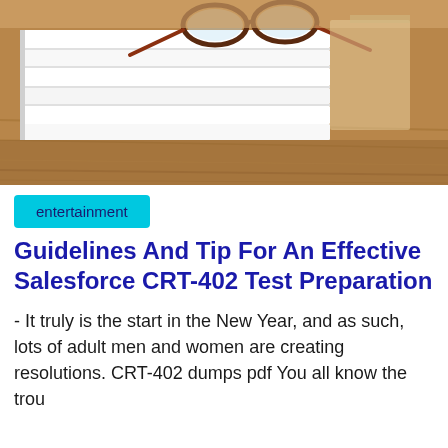[Figure (photo): Stack of white books/notebooks on a wooden table with a pair of red-brown glasses resting on top, warm wood grain background]
entertainment
Guidelines And Tip For An Effective Salesforce CRT-402 Test Preparation
- It truly is the start in the New Year, and as such, lots of adult men and women are creating resolutions. CRT-402 dumps pdf You all know the trou